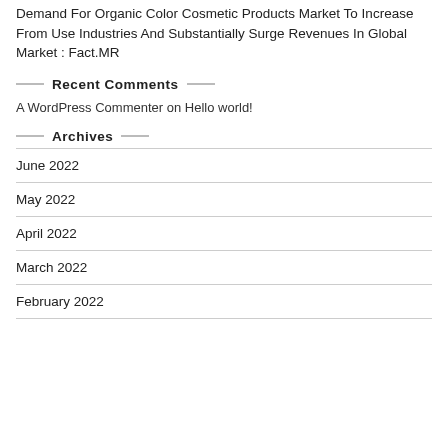Demand For Organic Color Cosmetic Products Market To Increase From Use Industries And Substantially Surge Revenues In Global Market : Fact.MR
Recent Comments
A WordPress Commenter on Hello world!
Archives
June 2022
May 2022
April 2022
March 2022
February 2022